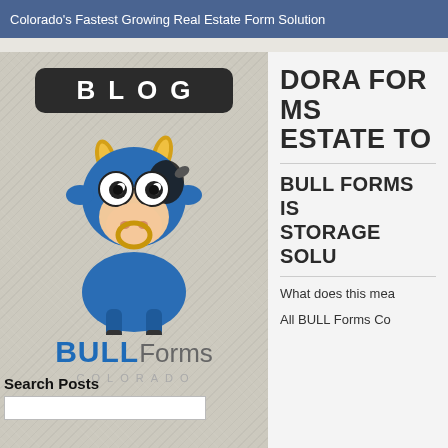Colorado's Fastest Growing Real Estate Form Solution
[Figure (logo): Bull Forms Colorado blog logo with BLOG badge and cartoon blue bull mascot]
DORA FORMS REAL ESTATE TO
BULL FORMS IS STORAGE SOLU
What does this mea
All BULL Forms Co
Search Posts